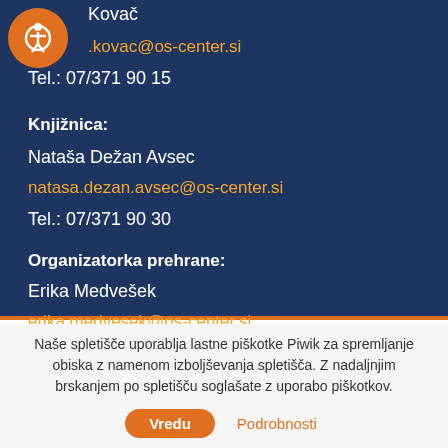Kovač
.kovac@os-center.si
Tel.: 07/371 90 15
Knjižnica:
Nataša Dežan Avsec
natasa.dezan.avsec@os-center.si
Tel.: 07/371 90 30
Organizatorka prehrane:
Erika Medvešek
erika.medvesek@os-center.si
Tel.: 031 277 671
Naše spletišče uporablja lastne piškotke Piwik za spremljanje obiska z namenom izboljševanja spletišča. Z nadaljnjim brskanjem po spletišču soglašate z uporabo piškotkov.
Vredu
Podrobnosti